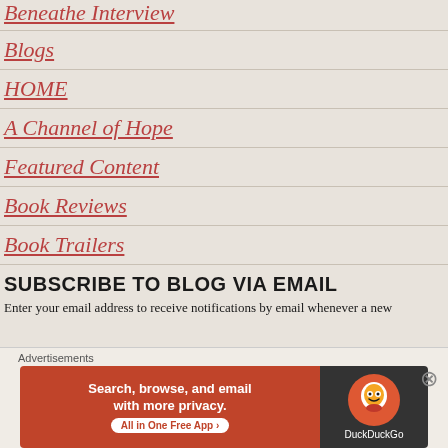Beneathe Interview
Blogs
HOME
A Channel of Hope
Featured Content
Book Reviews
Book Trailers
SUBSCRIBE TO BLOG VIA EMAIL
Enter your email address to receive notifications by email whenever a new blog…
Advertisements
[Figure (infographic): DuckDuckGo advertisement banner: orange left panel with text 'Search, browse, and email with more privacy. All in One Free App', dark right panel with DuckDuckGo duck logo]